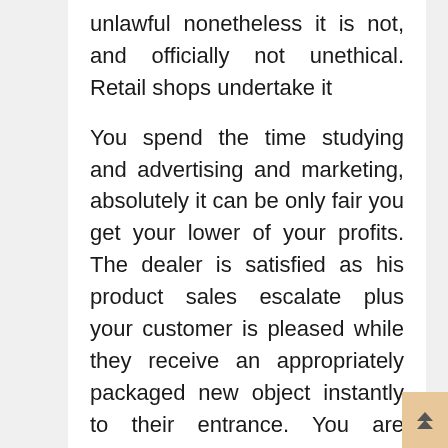unlawful nonetheless it is not, and officially not unethical. Retail shops undertake it
You spend the time studying and advertising and marketing, absolutely it can be only fair you get your lower of your profits. The dealer is satisfied as his product sales escalate plus your customer is pleased while they receive an appropriately packaged new object instantly to their entrance. You are delighted as you slowly see that 100 you needed put away for the visit to the internet casino transform into 1000 almost inside a husband and wife several weeks. Even Grandfather Sam's satisfied as cash changes hands and wrists from